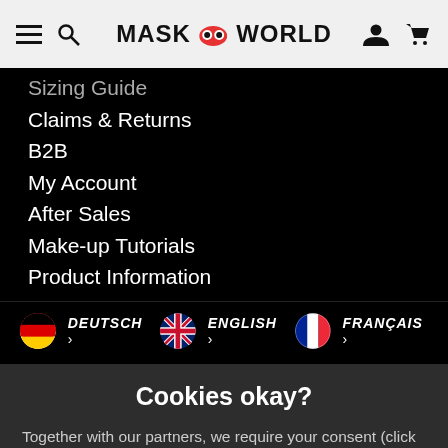MASKWORLD
Sizing Guide
Claims & Returns
B2B
My Account
After Sales
Make-up Tutorials
Product Information
DEUTSCH > ENGLISH > FRANÇAIS >
Cookies okay?
Together with our partners, we require your consent (click on "OK") for individual data uses in order to store and retrieve information (e.g. browser information, user ID, IP address) and to process it or have it processed. The data usage is for personalised functionalities, content and ads
OK